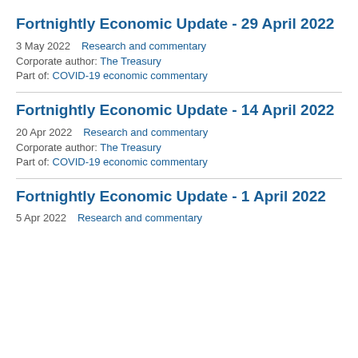Fortnightly Economic Update - 29 April 2022
3 May 2022    Research and commentary
Corporate author: The Treasury
Part of: COVID-19 economic commentary
Fortnightly Economic Update - 14 April 2022
20 Apr 2022    Research and commentary
Corporate author: The Treasury
Part of: COVID-19 economic commentary
Fortnightly Economic Update - 1 April 2022
5 Apr 2022    Research and commentary